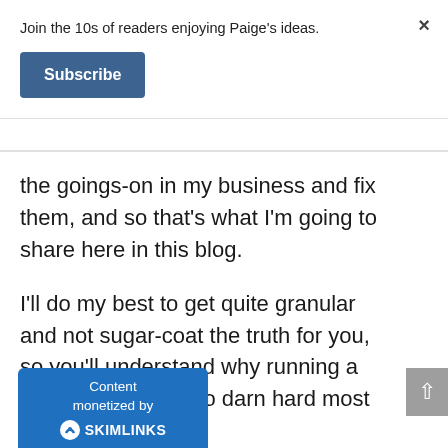Join the 10s of readers enjoying Paige's ideas.
Subscribe
the goings-on in my business and fix them, and so that's what I'm going to share here in this blog.
I'll do my best to get quite granular and not sugar-coat the truth for you, so you'll understand why running a small business is so darn hard most days.
[Figure (logo): Content monetized by SKIMLINKS logo bar in blue]
×